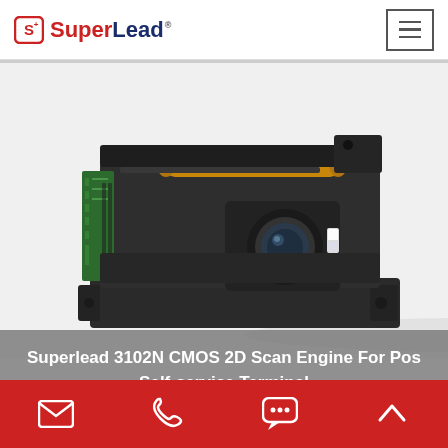SuperLead
[Figure (photo): Superlead 3102N CMOS 2D Scan Engine — a compact barcode scanning module with dark plastic housing, green PCB circuit board visible on the left side, gold cylindrical component on top, and a lens/imager assembly in the center-right. Product shown on white background.]
Superlead 3102N CMOS 2D Scan Engine For Pos Self-service Terminal
Email | Phone | Chat | Scroll to top